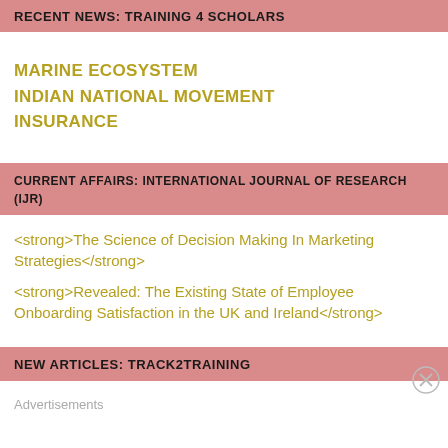RECENT NEWS: TRAINING 4 SCHOLARS
MARINE ECOSYSTEM
INDIAN NATIONAL MOVEMENT
INSURANCE
CURRENT AFFAIRS: INTERNATIONAL JOURNAL OF RESEARCH (IJR)
<strong>The Science of Decision Making In Marketing Strategies</strong>
<strong>Revealed: The Existing State of Employee Onboarding Satisfaction in the UK and Ireland</strong>
NEW ARTICLES: TRACK2TRAINING
Advertisements